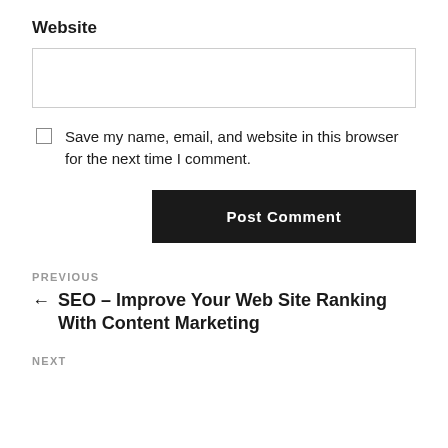Website
Save my name, email, and website in this browser for the next time I comment.
Post Comment
PREVIOUS
← SEO – Improve Your Web Site Ranking With Content Marketing
NEXT